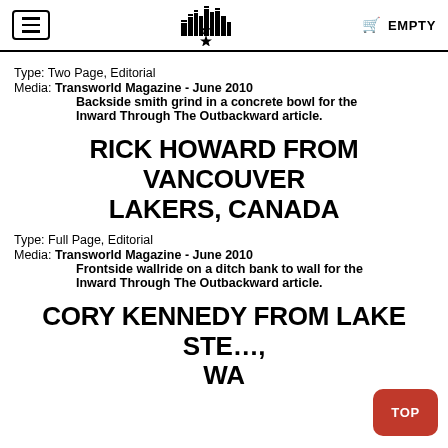EMPTY
Type: Two Page, Editorial
Media: Transworld Magazine - June 2010
Backside smith grind in a concrete bowl for the Inward Through The Outbackward article.
RICK HOWARD FROM VANCOUVER LAKERS, CANADA
Type: Full Page, Editorial
Media: Transworld Magazine - June 2010
Frontside wallride on a ditch bank to wall for the Inward Through The Outbackward article.
CORY KENNEDY FROM LAKE STE... WA